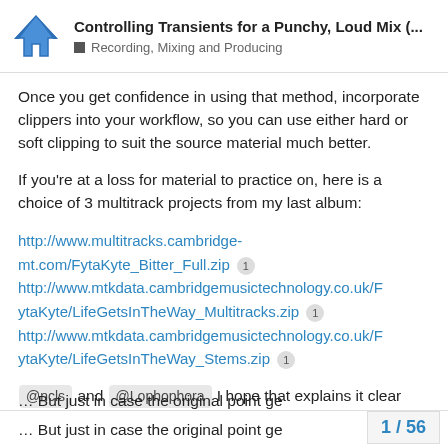Controlling Transients for a Punchy, Loud Mix (... | Recording, Mixing and Producing
Once you get confidence in using that method, incorporate clippers into your workflow, so you can use either hard or soft clipping to suit the source material much better.
If you're at a loss for material to practice on, here is a choice of 3 multitrack projects from my last album:
http://www.multitracks.cambridge-mt.com/FytaKyte_Bitter_Full.zip [1]
http://www.mtkdata.cambridgemusictechnology.co.uk/FytaKyte/LifeGetsInTheWay_Multitracks.zip [1]
http://www.mtkdata.cambridgemusictechnology.co.uk/FytaKyte/LifeGetsInTheWay_Stems.zip [1]
@ncls and @Lophophora I hope that explains it clear enough.
... But just in case the original point ge
1 / 56